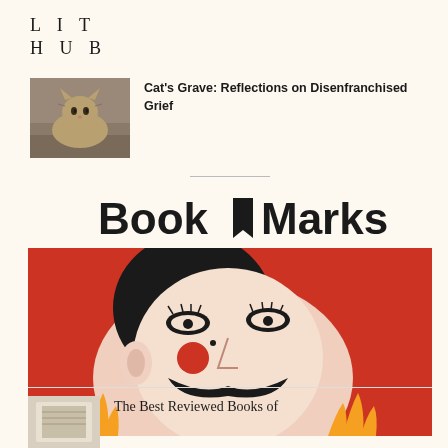LIT
HUB
Cat's Grave: Reflections on Disenfranchised Grief
[Figure (photo): Photo of a tabby cat sitting outdoors on stone steps]
[Figure (illustration): Book Marks logo with bookmark icon in black and white]
[Figure (illustration): Stylized illustration of a man's face with mustache, clown-like makeup, dark hair, on red background with flames]
5 Reviews You Need to Read This Week
August 18, 2022
The Best Reviewed Books of